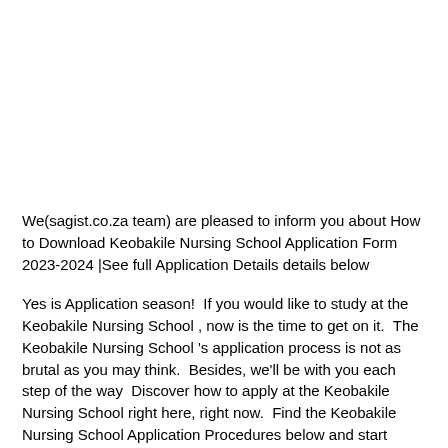We(sagist.co.za team) are pleased to inform you about How to Download Keobakile Nursing School Application Form 2023-2024 |See full Application Details details below
Yes is Application season!  If you would like to study at the Keobakile Nursing School , now is the time to get on it.  The Keobakile Nursing School 's application process is not as brutal as you may think.  Besides, we'll be with you each step of the way  Discover how to apply at the Keobakile Nursing School right here, right now.  Find the Keobakile Nursing School Application Procedures below and start